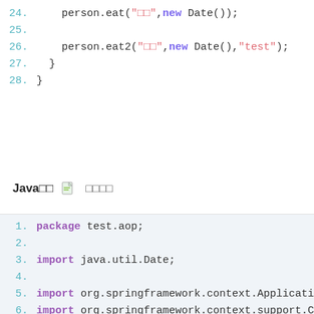24.     person.eat("□□",new Date());
25.
26.     person.eat2("□□",new Date(),"test");
27.   }
28. }
Java□□  □□□□□
1.  package test.aop;
2.
3.  import java.util.Date;
4.
5.  import org.springframework.context.Applicati
6.  import org.springframework.context.support.C
7.
8.  /**
9.   *
10.  * AOP□□□□□□
11.  *
12.  */